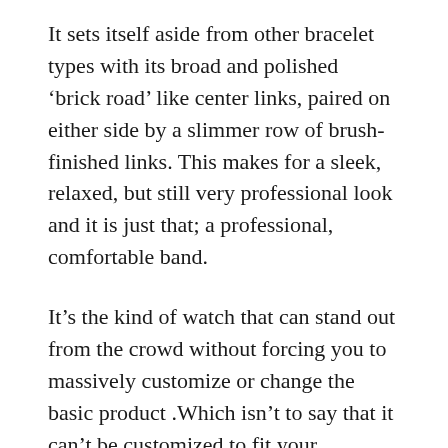It sets itself aside from other bracelet types with its broad and polished ‘brick road’ like center links, paired on either side by a slimmer row of brush-finished links. This makes for a sleek, relaxed, but still very professional look and it is just that; a professional, comfortable band.
It’s the kind of watch that can stand out from the crowd without forcing you to massively customize or change the basic product .Which isn’t to say that it can’t be customized to fit your individual needs or ideas, but rather that it’s timeless look combined with the ability to have some added customization make it an incredibly popular choice.
Again, don’t let the mass appeal of this